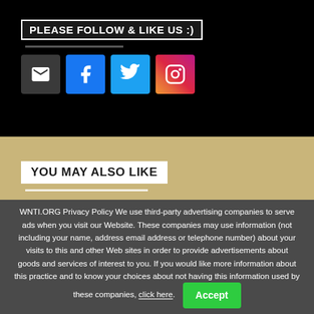PLEASE FOLLOW & LIKE US :)
[Figure (infographic): Social media icons: email, Facebook, Twitter, Instagram]
YOU MAY ALSO LIKE
WNTI.ORG Privacy Policy We use third-party advertising companies to serve ads when you visit our Website. These companies may use information (not including your name, address email address or telephone number) about your visits to this and other Web sites in order to provide advertisements about goods and services of interest to you. If you would like more information about this practice and to know your choices about not having this information used by these companies, click here.